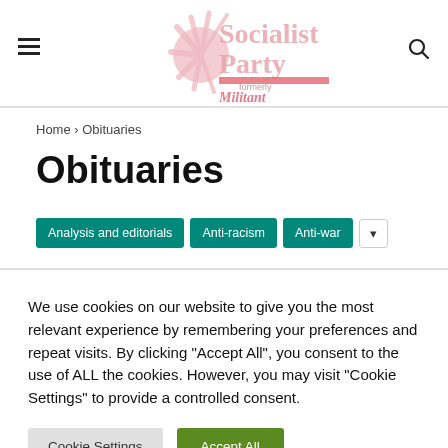[Figure (logo): Socialist Party formerly Militant logo with pink sun graphic]
Home › Obituaries
Obituaries
Analysis and editorials | Anti-racism | Anti-war
We use cookies on our website to give you the most relevant experience by remembering your preferences and repeat visits. By clicking "Accept All", you consent to the use of ALL the cookies. However, you may visit "Cookie Settings" to provide a controlled consent.
Cookie Settings | Accept All